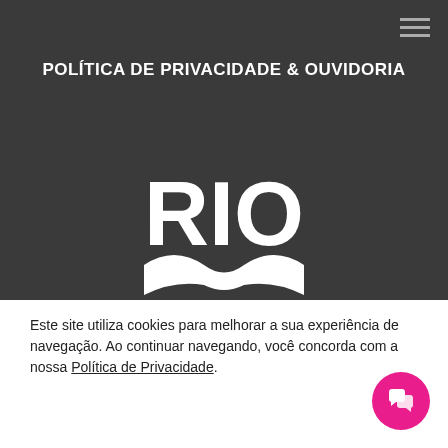☰
POLÍTICA DE PRIVACIDADE & OUVIDORIA
[Figure (logo): RIO city logo — white stylized letters 'RIO' with wave/mountain graphic underneath on dark background]
Este site utiliza cookies para melhorar a sua experiência de navegação. Ao continuar navegando, você concorda com a nossa Política de Privacidade.
ACEITAR COOKIES
[Figure (other): Pink circular chat/speech bubble icon button in bottom right corner]